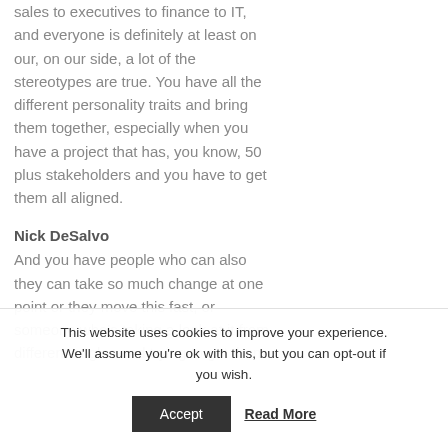because you have everyone who is in sales to executives to finance to IT, and everyone is definitely at least on our, on our side, a lot of the stereotypes are true. You have all the different personality traits and bring them together, especially when you have a project that has, you know, 50 plus stakeholders and you have to get them all aligned.
Nick DeSalvo
And you have people who can also they can take so much change at one point or they move this fast, or someone who's taking a look at it from different angles and trying to get them
This website uses cookies to improve your experience. We'll assume you're ok with this, but you can opt-out if you wish. Accept Read More